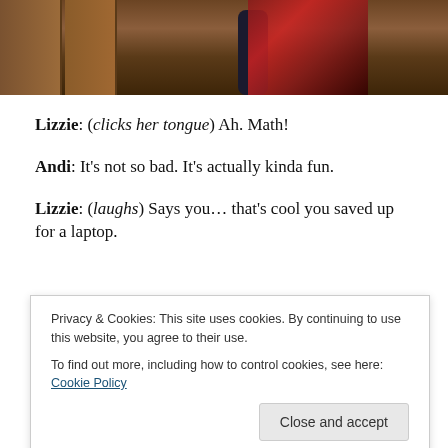[Figure (screenshot): Top portion of a screenshot showing a person wearing a dark top and red plaid skirt/dress standing near wooden doors. Only lower body is visible.]
Lizzie: (clicks her tongue) Ah. Math!
Andi: It's not so bad. It's actually kinda fun.
Lizzie: (laughs) Says you… that's cool you saved up for a laptop.
Privacy & Cookies: This site uses cookies. By continuing to use this website, you agree to their use.
To find out more, including how to control cookies, see here: Cookie Policy
Lizzie:  Oh, she and I share the same name. And yes, I've